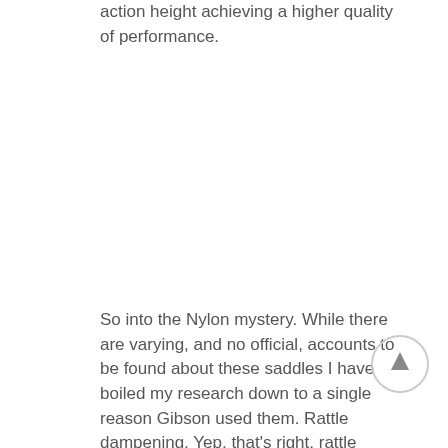action height achieving a higher quality of performance.
So into the Nylon mystery. While there are varying, and no official, accounts to be found about these saddles I have boiled my research down to a single reason Gibson used them. Rattle dampening. Yep, that's right, rattle dampening. While